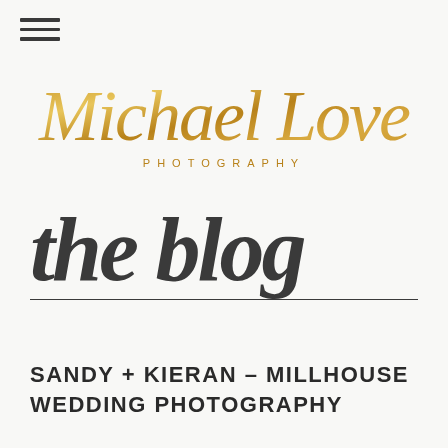[Figure (logo): Michael Love Photography logo with gold script text 'Michael Love' and subtitle 'PHOTOGRAPHY' in spaced gold letters]
the blog
SANDY + KIERAN – MILLHOUSE WEDDING PHOTOGRAPHY